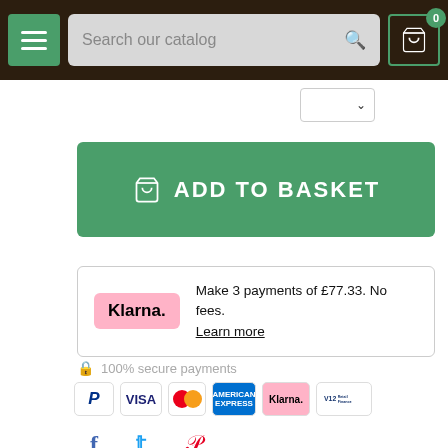Search our catalog
[Figure (screenshot): Add to Basket button (green) with shopping cart icon]
Make 3 payments of £77.33. No fees. Learn more
100% secure payments
[Figure (infographic): Payment method icons: PayPal, VISA, Mastercard, American Express, Klarna, V12 Retail Finance]